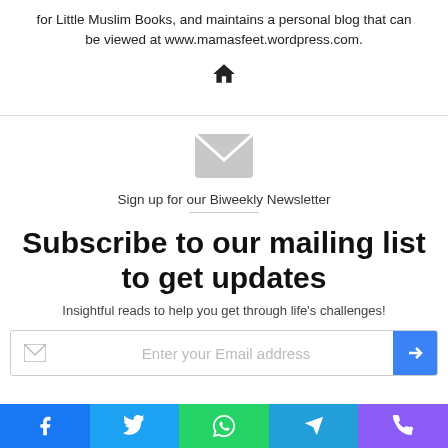for Little Muslim Books, and maintains a personal blog that can be viewed at www.mamasfeet.wordpress.com.
[Figure (illustration): Home icon (house symbol)]
[Figure (illustration): Large envelope/mail icon in light gray]
Sign up for our Biweekly Newsletter
Subscribe to our mailing list to get updates
Insightful reads to help you get through life's challenges!
[Figure (screenshot): Email input field with placeholder 'Enter your Email address' and a blue arrow button on the right]
[Figure (infographic): Social sharing bar at bottom with Facebook, Twitter, WhatsApp, Telegram, and Phone icons]